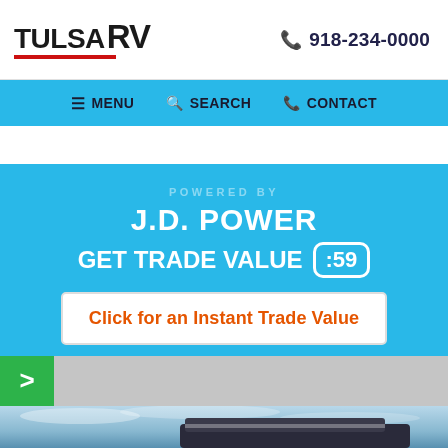TULSA RV | 918-234-0000
≡ MENU  🔍 SEARCH  ℡ CONTACT
POWERED BY
J.D. POWER
GET TRADE VALUE :59
Click for an Instant Trade Value
[Figure (photo): Front exterior of a large RV/motorhome against a blue sky with clouds]